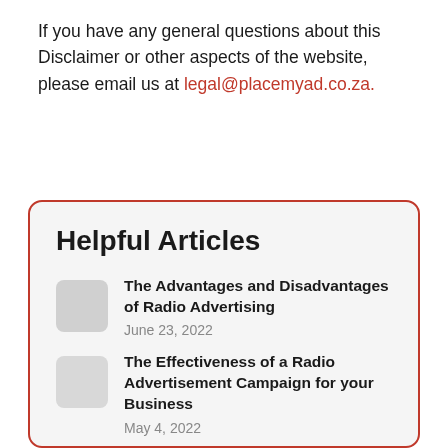If you have any general questions about this Disclaimer or other aspects of the website, please email us at legal@placemyad.co.za.
Helpful Articles
The Advantages and Disadvantages of Radio Advertising
June 23, 2022
The Effectiveness of a Radio Advertisement Campaign for your Business
May 4, 2022